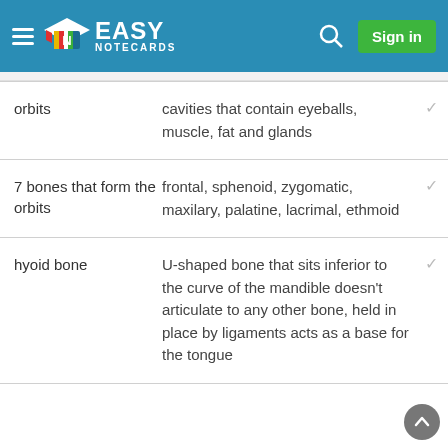Easy Notecards — Sign in
| Term | Definition |
| --- | --- |
| orbits | cavities that contain eyeballs, muscle, fat and glands |
| 7 bones that form the orbits | frontal, sphenoid, zygomatic, maxilary, palatine, lacrimal, ethmoid |
| hyoid bone | U-shaped bone that sits inferior to the curve of the mandible doesn't articulate to any other bone, held in place by ligaments acts as a base for the tongue |